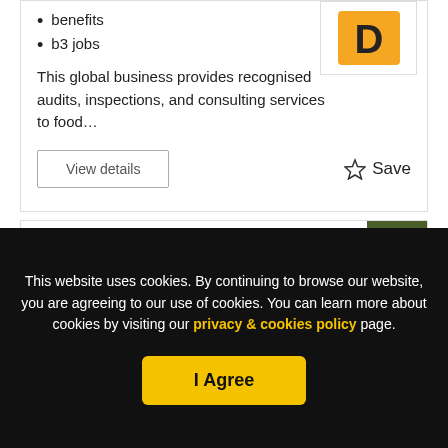benefits
b3 jobs
This global business provides recognised audits, inspections, and consulting services to food…
View details
☆ Save
[Figure (logo): Orange square logo with a bold letter D]
Multi-skilled Engineer
NEW
This website uses cookies. By continuing to browse our website, you are agreeing to our use of cookies. You can learn more about cookies by visiting our privacy & cookies policy page.
I Agree